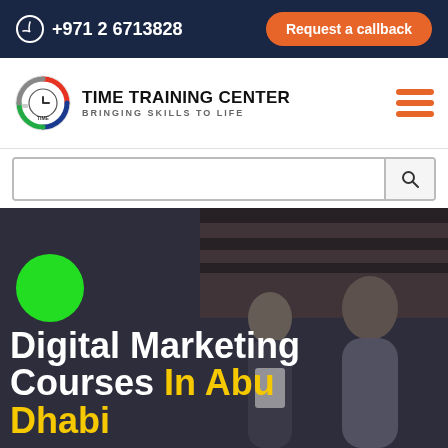+971 2 6713828  |  Request a callback
[Figure (logo): Time Training Center logo — circular emblem with clock icon and colored arcs in red, blue, green]
TIME TRAINING CENTER — BRINGING SKILLS TO LIFE
[Figure (infographic): Website screenshot showing header, navigation, search bar, and hero banner for Digital Marketing Courses In Abu Dhabi]
Digital Marketing Courses In Abu Dhabi